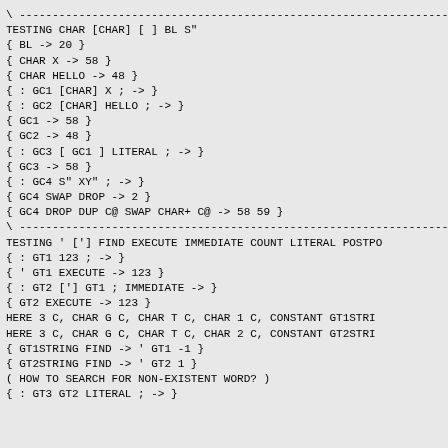\ ---...
TESTING CHAR [CHAR] [ ] BL S"
{ BL -> 20 }
{ CHAR X -> 58 }
{ CHAR HELLO -> 48 }
{ : GC1 [CHAR] X ; -> }
{ : GC2 [CHAR] HELLO ; -> }
{ GC1 -> 58 }
{ GC2 -> 48 }
{ : GC3 [ GC1 ] LITERAL ; -> }
{ GC3 -> 58 }
{ : GC4 S" XY" ; -> }
{ GC4 SWAP DROP -> 2 }
{ GC4 DROP DUP C@ SWAP CHAR+ C@ -> 58 59 }
\ ---...
TESTING ' ['] FIND EXECUTE IMMEDIATE COUNT LITERAL POSTPO
{ : GT1 123 ; -> }
{ ' GT1 EXECUTE -> 123 }
{ : GT2 ['] GT1 ; IMMEDIATE -> }
{ GT2 EXECUTE -> 123 }
HERE 3 C, CHAR G C, CHAR T C, CHAR 1 C, CONSTANT GT1STRI
HERE 3 C, CHAR G C, CHAR T C, CHAR 2 C, CONSTANT GT2STRI
{ GT1STRING FIND -> ' GT1 -1 }
{ GT2STRING FIND -> ' GT2 1 }
( HOW TO SEARCH FOR NON-EXISTENT WORD? )
{ : GT3 GT2 LITERAL ; -> }